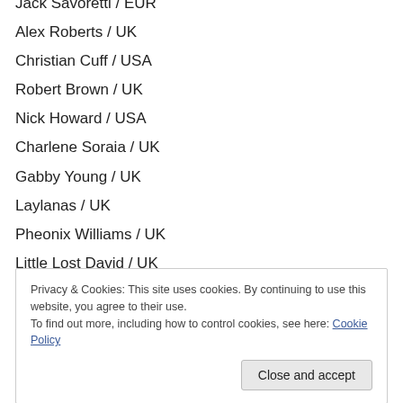Jack Savoretti / EUR
Alex Roberts / UK
Christian Cuff / USA
Robert Brown / UK
Nick Howard / USA
Charlene Soraia / UK
Gabby Young / UK
Laylanas / UK
Pheonix Williams / UK
Little Lost David / UK
Touchstone / UK
Privacy & Cookies: This site uses cookies. By continuing to use this website, you agree to their use. To find out more, including how to control cookies, see here: Cookie Policy
Close and accept